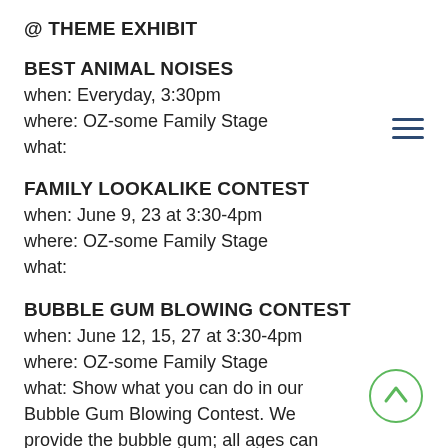@ THEME EXHIBIT
BEST ANIMAL NOISES
when: Everyday, 3:30pm
where: OZ-some Family Stage
what:
FAMILY LOOKALIKE CONTEST
when: June 9, 23 at 3:30-4pm
where: OZ-some Family Stage
what:
BUBBLE GUM BLOWING CONTEST
when: June 12, 15, 27 at 3:30-4pm
where: OZ-some Family Stage
what: Show what you can do in our Bubble Gum Blowing Contest. We provide the bubble gum; all ages can participate!
FATHER/CHILD LOOKALIKE CONTEST
when: June 16 at 1-1:30 at Plaza State
when: June 16 at 3:30-4pm at OZ-some Family Stage